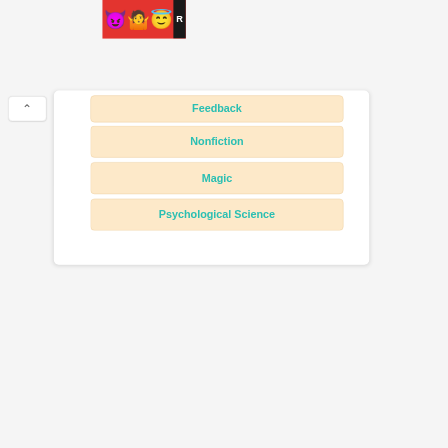[Figure (screenshot): App banner with emoji characters (devil, person, halo emoji) on red background with partial 'R' logo on right edge]
Feedback
Nonfiction
Magic
Psychological Science